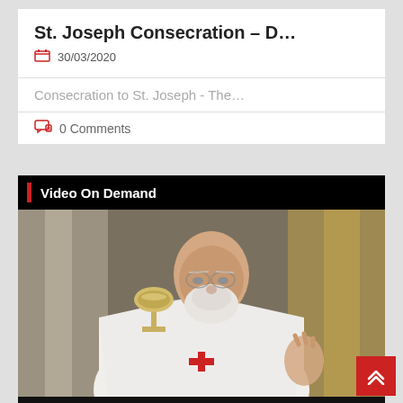St. Joseph Consecration – D…
30/03/2020
Consecration to St. Joseph - The…
0 Comments
Video On Demand
[Figure (photo): Photo of an elderly bald priest with white beard wearing white vestments with a red cross, holding a chalice, in a church setting]